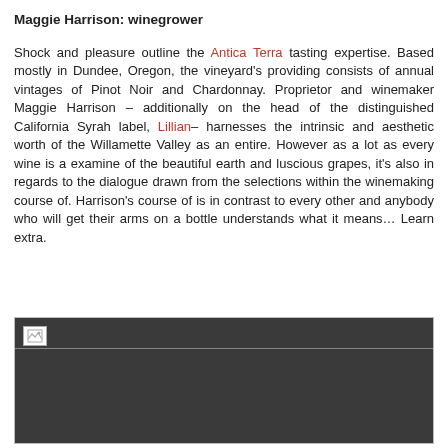Maggie Harrison: winegrower
Shock and pleasure outline the Antica Terra tasting expertise. Based mostly in Dundee, Oregon, the vineyard's providing consists of annual vintages of Pinot Noir and Chardonnay. Proprietor and winemaker Maggie Harrison – additionally on the head of the distinguished California Syrah label, Lillian– harnesses the intrinsic and aesthetic worth of the Willamette Valley as an entire. However as a lot as every wine is a examine of the beautiful earth and luscious grapes, it's also in regards to the dialogue drawn from the selections within the winemaking course of. Harrison's course of is in contrast to every other and anybody who will get their arms on a bottle understands what it means… Learn extra.
[Figure (photo): Dark image placeholder with broken image icon at top-left, dark gray background filling the lower portion of the page]